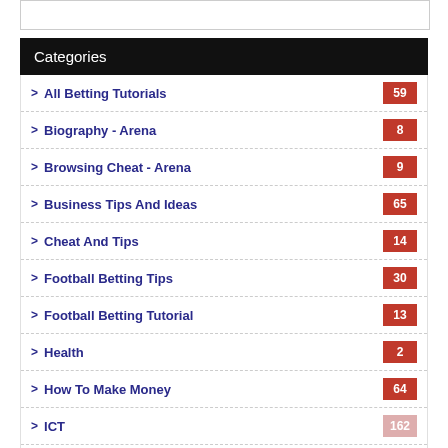Categories
All Betting Tutorials 59
Biography - Arena 8
Browsing Cheat - Arena 9
Business Tips And Ideas 65
Cheat And Tips 14
Football Betting Tips 30
Football Betting Tutorial 13
Health 2
How To Make Money 64
ICT 162
Production 12